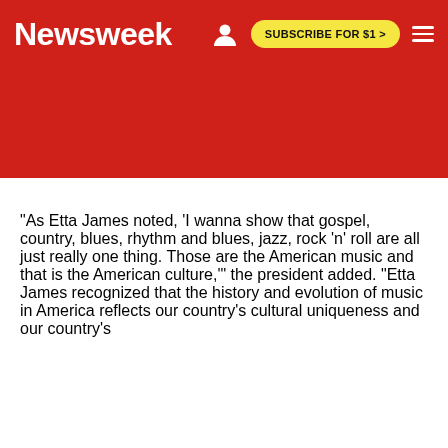Newsweek | SUBSCRIBE FOR $1 >
"As Etta James noted, 'I wanna show that gospel, country, blues, rhythm and blues, jazz, rock 'n' roll are all just really one thing. Those are the American music and that is the American culture,'" the president added. "Etta James recognized that the history and evolution of music in America reflects our country's cultural uniqueness and our country's